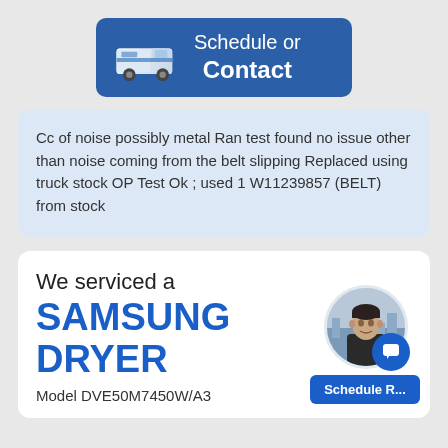[Figure (infographic): Blue rounded rectangle button with a white delivery van icon on the left and white text 'Schedule or Contact' on the right]
Cc of noise possibly metal Ran test found no issue other than noise coming from the belt slipping Replaced using truck stock OP Test Ok ; used 1 W11239857 (BELT) from stock
We serviced a
SAMSUNG DRYER
Model DVE50M7450W/A3